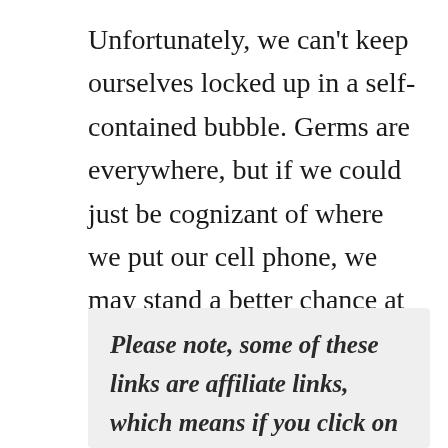Unfortunately, we can't keep ourselves locked up in a self-contained bubble. Germs are everywhere, but if we could just be cognizant of where we put our cell phone, we may stand a better chance at contracting one of these nasty germs.
Please note, some of these links are affiliate links, which means if you click on one of the product links, I'll